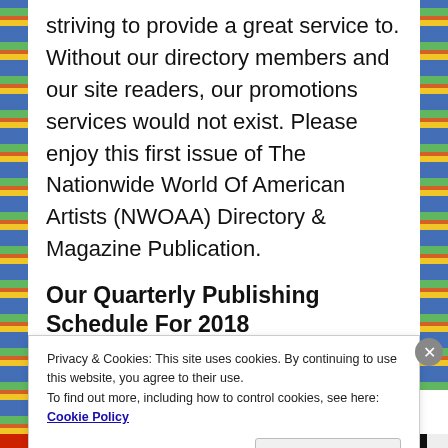striving to provide a great service to. Without our directory members and our site readers, our promotions services would not exist. Please enjoy this first issue of The Nationwide World Of American Artists (NWOAA) Directory & Magazine Publication.
Our Quarterly Publishing Schedule For 2018
Privacy & Cookies: This site uses cookies. By continuing to use this website, you agree to their use.
To find out more, including how to control cookies, see here: Cookie Policy